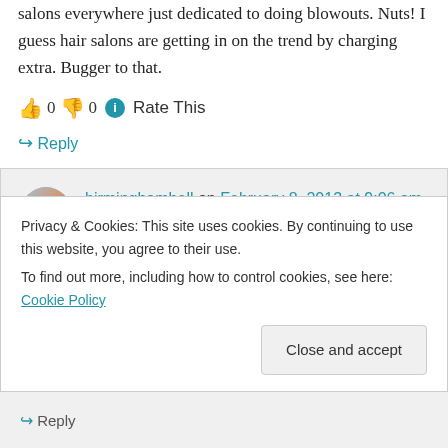salons everywhere just dedicated to doing blowouts. Nuts! I guess hair salons are getting in on the trend by charging extra. Bugger to that.
👍 0 👎 0 ℹ Rate This
↪ Reply
birminghambell on February 8, 2013 at 9:06 am
What's also crazy is I never told the girl the
Privacy & Cookies: This site uses cookies. By continuing to use this website, you agree to their use. To find out more, including how to control cookies, see here: Cookie Policy
Close and accept